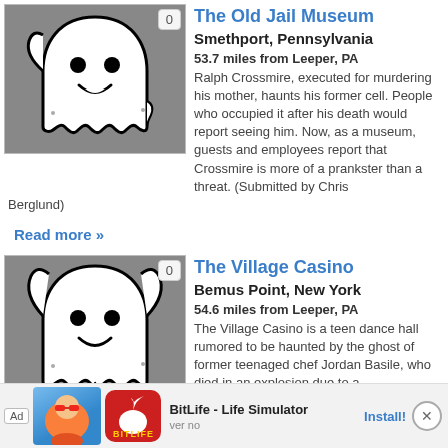[Figure (illustration): Ghost illustration on grey background with badge]
The Old Jail Museum
Smethport, Pennsylvania
53.7 miles from Leeper, PA
Ralph Crossmire, executed for murdering his mother, haunts his former cell. People who occupied it after his death would report seeing him. Now, as a museum, guests and employees report that Crossmire is more of a prankster than a threat. (Submitted by Chris Berglund)
Read more »
[Figure (illustration): Ghost illustration on grey background with 0 badge]
The Village Casino
Bemus Point, New York
54.6 miles from Leeper, PA
The Village Casino is a teen dance hall rumored to be haunted by the ghost of former teenaged chef Jordan Basile, who died in an explosion due to a malfunctioning oven. The
[Figure (other): Ad banner: BitLife - Life Simulator]